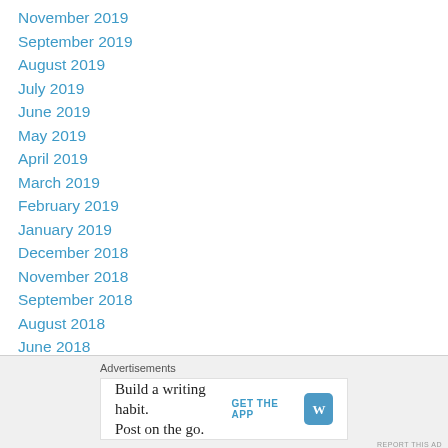November 2019
September 2019
August 2019
July 2019
June 2019
May 2019
April 2019
March 2019
February 2019
January 2019
December 2018
November 2018
September 2018
August 2018
June 2018
May 2018
Advertisements
Build a writing habit. Post on the go. GET THE APP